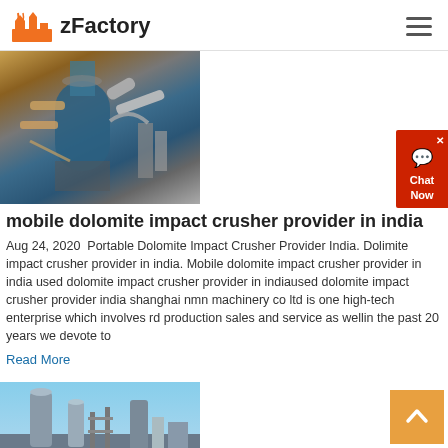zFactory
[Figure (photo): Industrial machinery with blue cylindrical vessel and metallic pipes/ductwork at a manufacturing plant]
mobile dolomite impact crusher provider in india
Aug 24, 2020  Portable Dolomite Impact Crusher Provider India. Dolimite impact crusher provider in india. Mobile dolomite impact crusher provider in india used dolomite impact crusher provider in indiaused dolomite impact crusher provider india shanghai nmn machinery co ltd is one high-tech enterprise which involves rd production sales and service as wellin the past 20 years we devote to
Read More
[Figure (photo): Industrial facility with tall cylindrical structures and scaffolding against a blue sky]